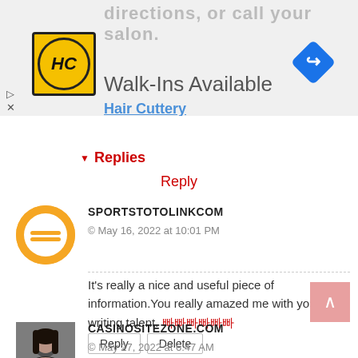[Figure (screenshot): Ad banner for Hair Cuttery: HC logo, Walk-Ins Available text, navigation arrow icon, Hair Cuttery link text partially visible]
▼ Replies
Reply
SPORTSTOTOLINKCOM
© May 16, 2022 at 10:01 PM
It's really a nice and useful piece of information.You really amazed me with your writing talent.
Reply   Delete
▼ Replies
Reply
CASINOSITEZONE.COM
© May 27, 2022 at 6:47 AM